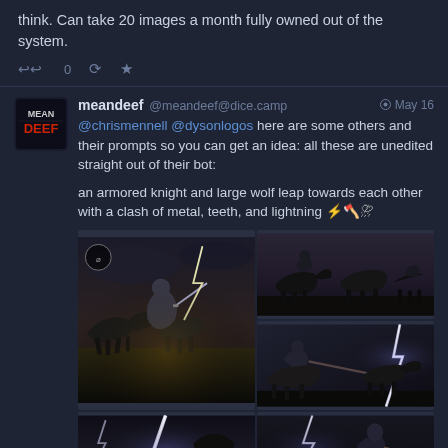think. Can take 20 images a month fully owned out of the system.
0  [retweet icon]  [star icon]
meandeef @meandeef@dice.camp  May 16
@chrismennell @dysonlogos here are some others and their prompts so you can get an idea: all these are unedited straight out of their bot:

an armored knight and large wolf leap towards each other with a clash of metal, teeth, and lightning ⚡🪓⛈
[Figure (photo): Grid of 6 AI-generated images showing armored knights fighting wolves or riding horses in stormy lightning scenes]